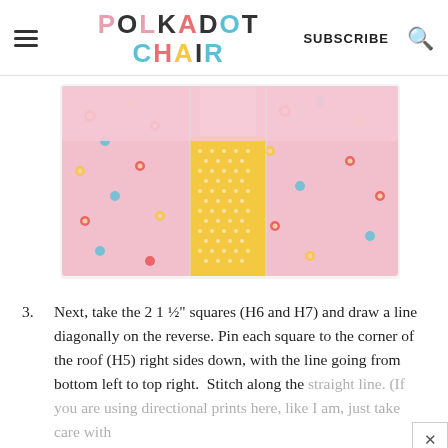POLKADOT CHAIR | SUBSCRIBE
[Figure (photo): A sewn quilt block showing pink floral fabric panels surrounding a central yellow fabric strip with small floral print, photographed on a white background.]
3. Next, take the 2 1 ½" squares (H6 and H7) and draw a line diagonally on the reverse. Pin each square to the corner of the roof (H5) right sides down, with the line going from bottom left to top right. Stitch along the straight line. (If you are using directional prints here, like I am, just take care with